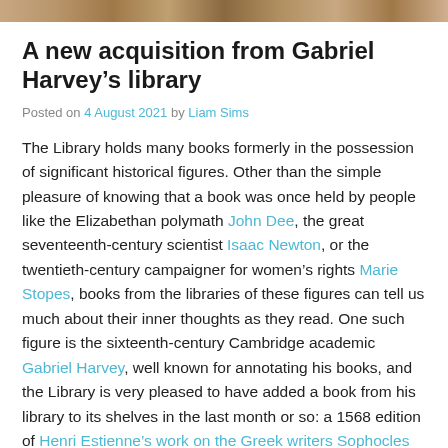[Figure (photo): Decorative strip at top of page showing historical/library scene]
A new acquisition from Gabriel Harvey’s library
Posted on 4 August 2021 by Liam Sims
The Library holds many books formerly in the possession of significant historical figures. Other than the simple pleasure of knowing that a book was once held by people like the Elizabethan polymath John Dee, the great seventeenth-century scientist Isaac Newton, or the twentieth-century campaigner for women’s rights Marie Stopes, books from the libraries of these figures can tell us much about their inner thoughts as they read. One such figure is the sixteenth-century Cambridge academic Gabriel Harvey, well known for annotating his books, and the Library is very pleased to have added a book from his library to its shelves in the last month or so: a 1568 edition of Henri Estienne’s work on the Greek writers Sophocles and Euripides.